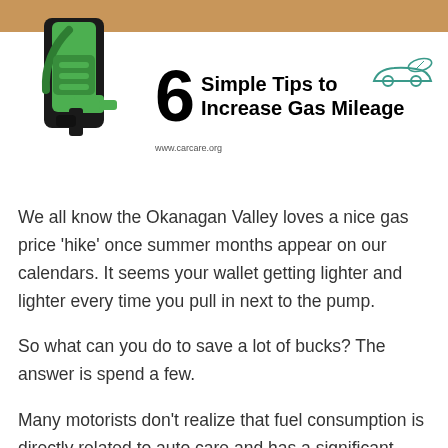[Figure (infographic): Header infographic showing a green gas pump nozzle on the left, a tan/brown banner at the top, a large '6' numeral, the title '6 Simple Tips to Increase Gas Mileage', a small car logo/icon, and the website www.carcare.org]
We all know the Okanagan Valley loves a nice gas price 'hike' once summer months appear on our calendars. It seems your wallet getting lighter and lighter every time you pull in next to the pump.
So what can you do to save a lot of bucks? The answer is spend a few.
Many motorists don't realize that fuel consumption is directly related to auto care and has a significant impact on how much gas you use, said Rich White, executive director, Car Care Council. Gas prices can climb quickly, but the good news is that you can